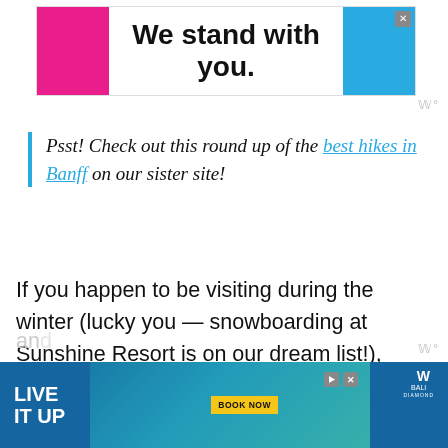[Figure (screenshot): Advertisement banner reading 'We stand with you.' with pink and blue color blocks]
Psst! Check out this round up of the best hikes in Banff on our sister site!
If you happen to be visiting during the winter (lucky you — snowboarding at Sunshine Resort is on our dream list!), our friends from Practical Wanderlust have a guide you've gotta check out! It's a breakdown of what to pack, top travel tips,
[Figure (screenshot): Bottom advertisement banner reading 'LIVE IT UP' with BOOK NOW button]